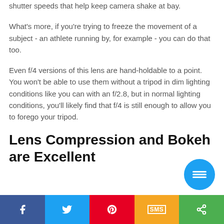shutter speeds that help keep camera shake at bay.
What's more, if you're trying to freeze the movement of a subject - an athlete running by, for example - you can do that too.
Even f/4 versions of this lens are hand-holdable to a point. You won't be able to use them without a tripod in dim lighting conditions like you can with an f/2.8, but in normal lighting conditions, you'll likely find that f/4 is still enough to allow you to forego your tripod.
Lens Compression and Bokeh are Excellent